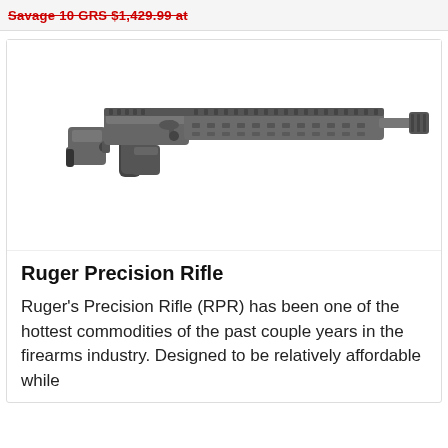Savage 10 GRS $1,429.99 at
[Figure (photo): Photo of a Ruger Precision Rifle (RPR) shown in side profile on white background. The rifle is dark grey/black with a folding adjustable stock, pistol grip, long Keymod handguard rail, bolt action receiver, and muzzle brake at the end of the barrel.]
Ruger Precision Rifle
Ruger's Precision Rifle (RPR) has been one of the hottest commodities of the past couple years in the firearms industry. Designed to be relatively affordable while